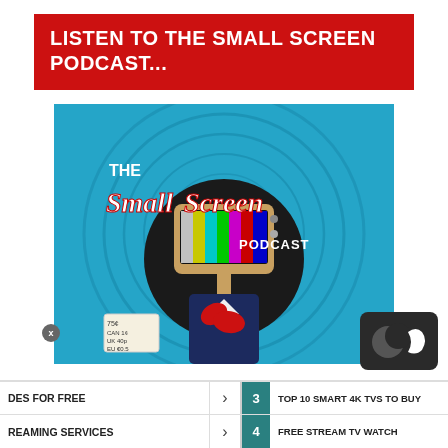LISTEN TO THE SMALL SCREEN PODCAST...
[Figure (illustration): The Small Screen Podcast cover art showing a person in a suit with a vintage TV for a head displaying color bars, set against a blue circular pattern background with the text 'THE Small Screen PODCAST']
DES FOR FREE
REAMING SERVICES
3  TOP 10 SMART 4K TVS TO BUY
4  FREE STREAM TV WATCH